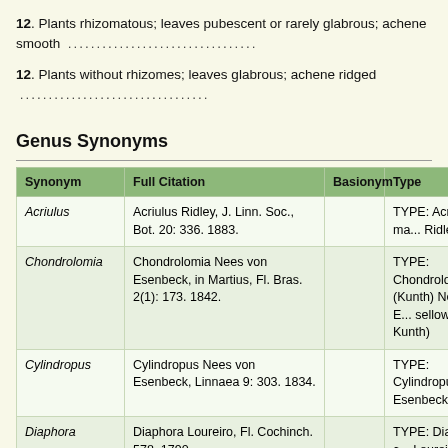12. Plants rhizomatous; leaves pubescent or rarely glabrous; achene smooth …
12. Plants without rhizomes; leaves glabrous; achene ridged …
Genus Synonyms
| Synonym | Full Citation | Basionym | Type |
| --- | --- | --- | --- |
| Acriulus | Acriulus Ridley, J. Linn. Soc., Bot. 20: 336. 1883. |  | TYPE: Acriulus ma... Ridley |
| Chondrolomia | Chondrolomia Nees von Esenbeck, in Martius, Fl. Bras. 2(1): 173. 1842. |  | TYPE: Chondrolom... (Kunth) Nees von E... sellowiana Kunth) |
| Cylindropus | Cylindropus Nees von Esenbeck, Linnaea 9: 303. 1834. |  | TYPE: Cylindropu... von Esenbeck |
| Diaphora | Diaphora Loureiro, Fl. Cochinch. 578. 1790. |  | TYPE: Diaphora c... Loureiro |
| Diploscyphus | Diploscyphus Liebmann, Kongel. Danske Vidensk. Selsk. Skr., Naturvidensk. Math. Afh., ser. 5. 2: 262. 1850. |  | TYPE: Diploscyph... Liebmann |
+ Expand All